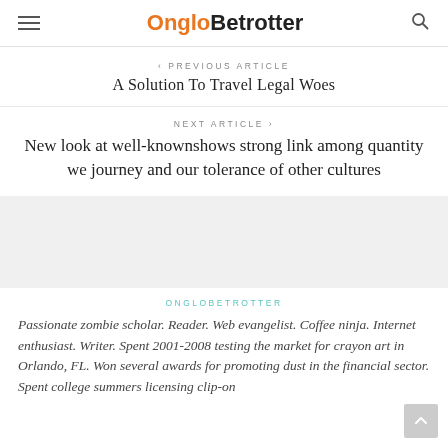OngloBetrotter
< PREVIOUS ARTICLE
A Solution To Travel Legal Woes
NEXT ARTICLE >
New look at well-knownshows strong link among quantity we journey and our tolerance of other cultures
[Figure (other): Gray placeholder box]
ONGLOBETROTTER
Passionate zombie scholar. Reader. Web evangelist. Coffee ninja. Internet enthusiast. Writer. Spent 2001-2008 testing the market for crayon art in Orlando, FL. Won several awards for promoting dust in the financial sector. Spent college summers licensing clip-on